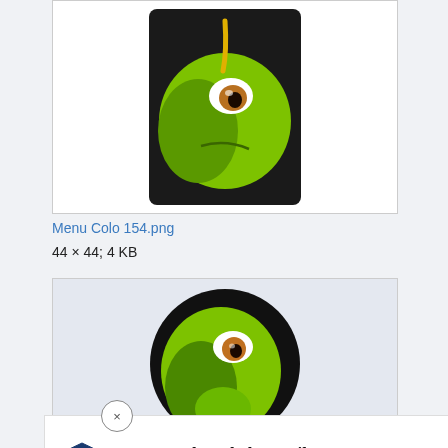[Figure (screenshot): Green cartoon character face on black square background in a white card]
Menu Colo 154.png
44 × 44; 4 KB
[Figure (screenshot): Green cartoon dinosaur/snake character on black circular background in a light gray card]
Report Ad
Menu Co...
48 × 4...
(previous...
[Figure (screenshot): Ad overlay: close button X, Topgolf logo, Fun For The Whole Family Topgolf text, blue arrow icon]